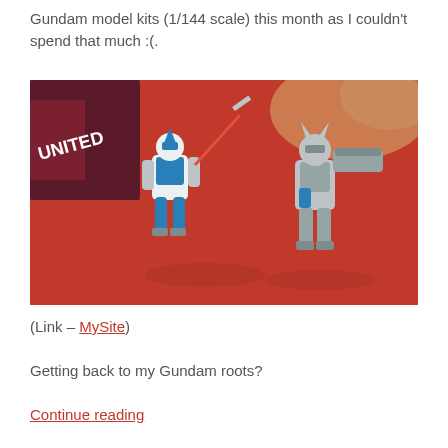Gundam model kits (1/144 scale) this month as I couldn't spend that much :(.
[Figure (photo): Photo of two Gundam model kit figures (1/144 scale) posed on a red surface. One figure is blue and white with a sword, the other is grey/white with horns. A dark red box labeled 'UNITED' is visible in the background.]
(Link – MySite)
Getting back to my Gundam roots?
Continue reading